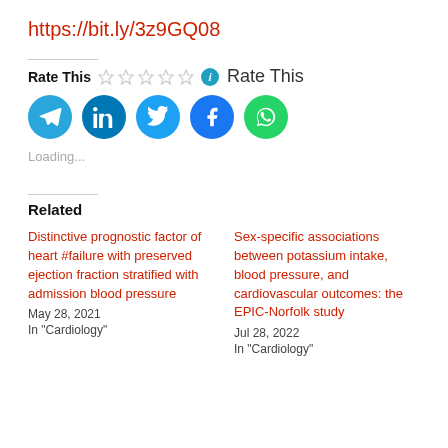https://bit.ly/3z9GQ08
Rate This ☆☆☆☆☆ ℹ Rate This
[Figure (infographic): Social media sharing icons: Telegram, LinkedIn, Twitter, Facebook, WhatsApp]
Loading...
Related
Distinctive prognostic factor of heart #failure with preserved ejection fraction stratified with admission blood pressure
May 28, 2021
In "Cardiology"
Sex-specific associations between potassium intake, blood pressure, and cardiovascular outcomes: the EPIC-Norfolk study
Jul 28, 2022
In "Cardiology"